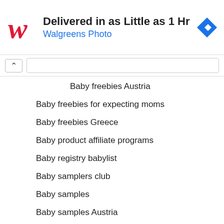[Figure (screenshot): Walgreens Photo advertisement banner with logo, headline 'Delivered in as Little as 1 Hr', subline 'Walgreens Photo', and a blue diamond navigation icon]
Baby freebies Austria
Baby freebies for expecting moms
Baby freebies Greece
Baby product affiliate programs
Baby registry babylist
Baby samplers club
Baby samples
Baby samples Austria
Baby samples Belgium
Baby samples France